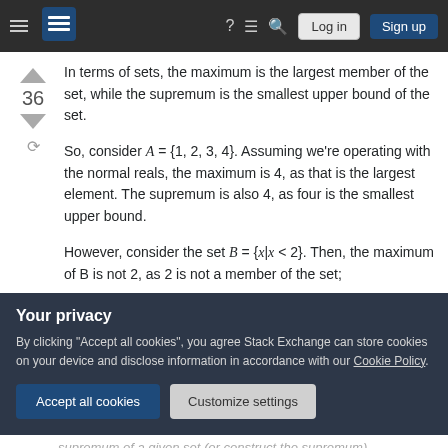Stack Exchange navigation bar with hamburger menu, logo, help, chat, search, Log in, Sign up buttons
In terms of sets, the maximum is the largest member of the set, while the supremum is the smallest upper bound of the set.
So, consider A = {1, 2, 3, 4}. Assuming we're operating with the normal reals, the maximum is 4, as that is the largest element. The supremum is also 4, as four is the smallest upper bound.
However, consider the set B = {x|x < 2}. Then, the maximum of B is not 2, as 2 is not a member of the set;
Your privacy
By clicking "Accept all cookies", you agree Stack Exchange can store cookies on your device and disclose information in accordance with our Cookie Policy.
supremum of a given set (or construct the supremum)